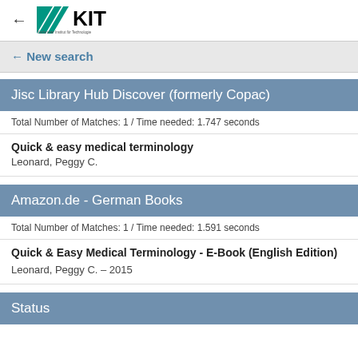← KIT - Karlsruher Institut für Technologie
← New search
Jisc Library Hub Discover (formerly Copac)
Total Number of Matches: 1 / Time needed: 1.747 seconds
Quick & easy medical terminology
Leonard, Peggy C.
Amazon.de - German Books
Total Number of Matches: 1 / Time needed: 1.591 seconds
Quick & Easy Medical Terminology - E-Book (English Edition)
Leonard, Peggy C. – 2015
Status